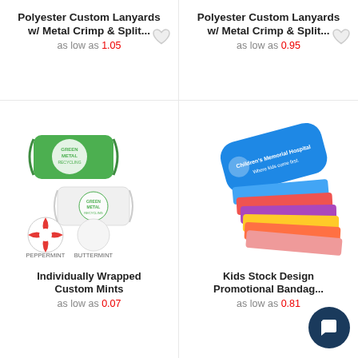Polyester Custom Lanyards w/ Metal Crimp & Split...
as low as 1.05
Polyester Custom Lanyards w/ Metal Crimp & Split...
as low as 0.95
[Figure (photo): Green Metal Recycling branded mints - green wrapped candy and white wrapped candy, with peppermint and buttermint varieties shown]
[Figure (photo): Children's Memorial Hospital branded bandage kit with colorful kids band-aids]
Individually Wrapped Custom Mints
as low as 0.07
Kids Stock Design Promotional Bandag...
as low as 0.81